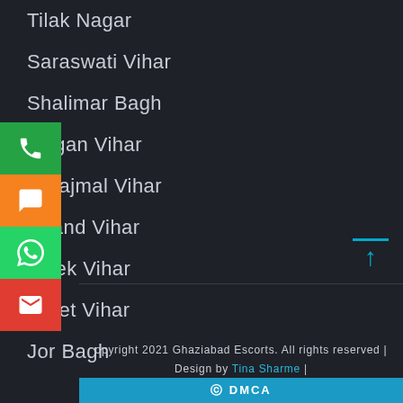Tilak Nagar
Saraswati Vihar
Shalimar Bagh
Gagan Vihar
Surajmal Vihar
Anand Vihar
Vivek Vihar
Preet Vihar
Jor Bagh
Copyright 2021 Ghaziabad Escorts. All rights reserved | Design by Tina Sharme |